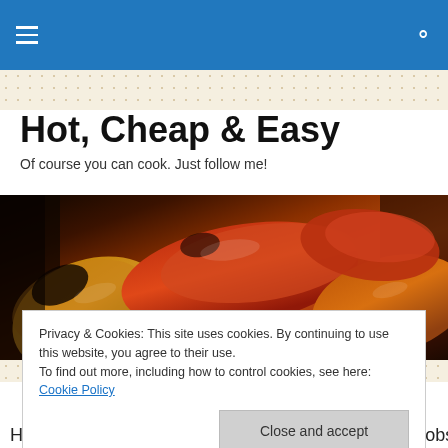Hot, Cheap & Easy — navigation bar
Hot, Cheap & Easy
Of course you can cook. Just follow me!
[Figure (photo): Roasted colorful peppers (red, yellow, orange) on a grill, charred and glossy, filling the full width of the image]
Privacy & Cookies: This site uses cookies. By continuing to use this website, you agree to their use.
To find out more, including how to control cookies, see here: Cookie Policy
[Close and accept]
Here was a nifty little trick to use up some bits and bobs…